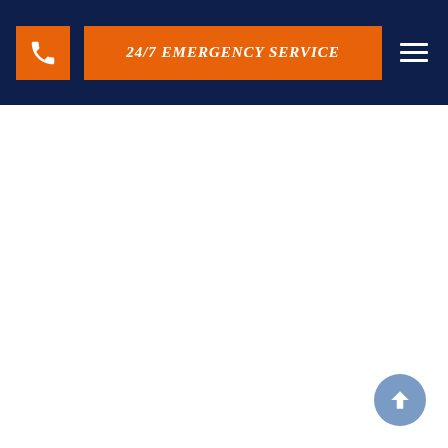24/7 EMERGENCY SERVICE
[Figure (other): Scroll-to-top circular button with upward arrow, light blue/steel blue color, positioned at bottom right]